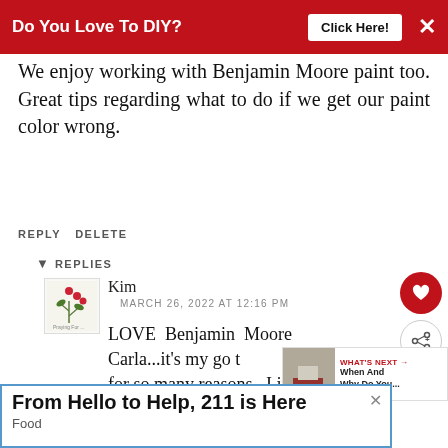[Figure (screenshot): Red banner advertisement: 'Do You Love To DIY? Click Here!' with X close button]
We enjoy working with Benjamin Moore paint too. Great tips regarding what to do if we get our paint color wrong.
REPLY DELETE
▾ REPLIES
Kim
MARCH 26, 2022 AT 12:16 PM
LOVE Benjamin Moore Carla...it's my go t for so many reasons. I just
[Figure (screenshot): WHAT'S NEXT arrow, When And Why Do You... with thumbnail image]
[Figure (screenshot): Ad bar: From Hello to Help, 211 is Here, Food]
[Figure (illustration): Floral avatar icon for commenter Kim]